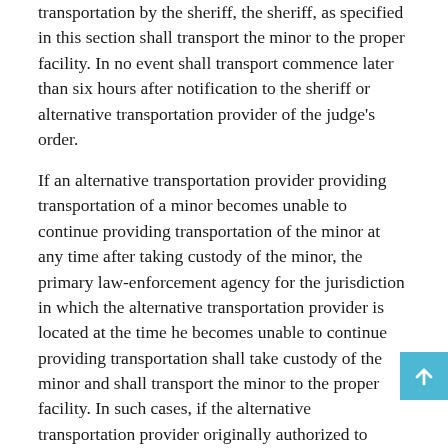transportation by the sheriff, the sheriff, as specified in this section shall transport the minor to the proper facility. In no event shall transport commence later than six hours after notification to the sheriff or alternative transportation provider of the judge's order.
If an alternative transportation provider providing transportation of a minor becomes unable to continue providing transportation of the minor at any time after taking custody of the minor, the primary law-enforcement agency for the jurisdiction in which the alternative transportation provider is located at the time he becomes unable to continue providing transportation shall take custody of the minor and shall transport the minor to the proper facility. In such cases, if the alternative transportation provider originally authorized to provide transportation is a person other than the minor's parent, the alternative transportation provider shall notify the minor's parent (a) that the primary law-enforcement agency for the jurisdiction in which he is located has taken custody of the minor and is